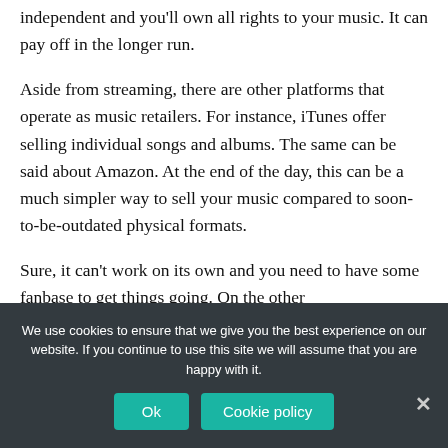independent and you'll own all rights to your music. It can pay off in the longer run.
Aside from streaming, there are other platforms that operate as music retailers. For instance, iTunes offer selling individual songs and albums. The same can be said about Amazon. At the end of the day, this can be a much simpler way to sell your music compared to soon-to-be-outdated physical formats.
Sure, it can't work on its own and you need to have some fanbase to get things going. On the other
We use cookies to ensure that we give you the best experience on our website. If you continue to use this site we will assume that you are happy with it.
Ok
Cookie policy